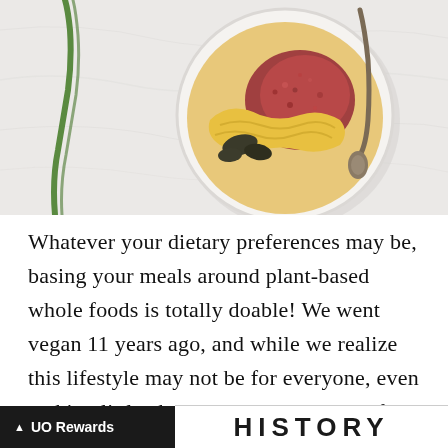[Figure (photo): Top-down view of a bowl of food with vegetables including green onion/scallion, grains, and a spoon, on a white marble surface]
Whatever your dietary preferences may be, basing your meals around plant-based whole foods is totally doable! We went vegan 11 years ago, and while we realize this lifestyle may not be for everyone, even making little changes will do wonders for your health and the environment - and Meatless Monday is a great way to start!
UO Rewards